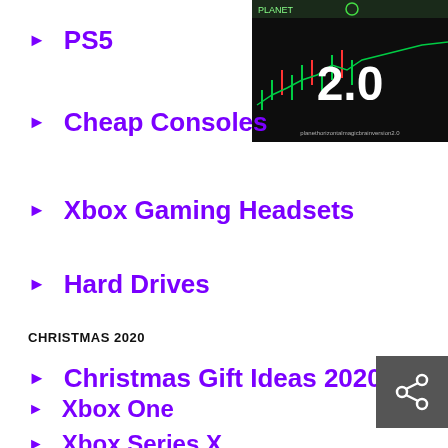PS5
[Figure (screenshot): Screenshot of a trading chart with '2.0' displayed on screen, dark background with green/red candlestick chart]
Cheap Consoles
Xbox Gaming Headsets
Hard Drives
CHRISTMAS 2020
Christmas Gift Ideas 2020
[Figure (illustration): Share/network icon button (dark grey square with share symbol)]
Xbox One
Xbox Series X